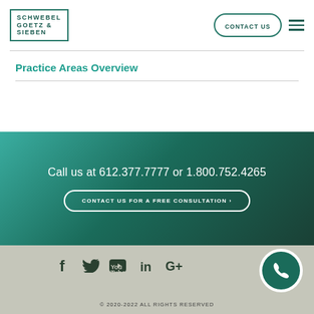[Figure (logo): Schwebel Goetz & Sieben law firm logo with green border box]
CONTACT US
Practice Areas Overview
Call us at 612.377.7777 or 1.800.752.4265
CONTACT US FOR A FREE CONSULTATION >
[Figure (illustration): Social media icons: Facebook, Twitter, YouTube, LinkedIn, Google+]
© 2020-2022 ALL RIGHTS RESERVED